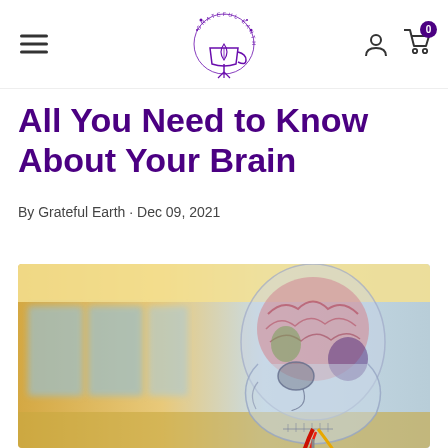Grateful Earth (logo)
All You Need to Know About Your Brain
By Grateful Earth · Dec 09, 2021
[Figure (photo): A transparent anatomical skull and brain model showing internal brain structures and arteries/veins in red and yellow, photographed in a bright interior space with blurred architectural background.]